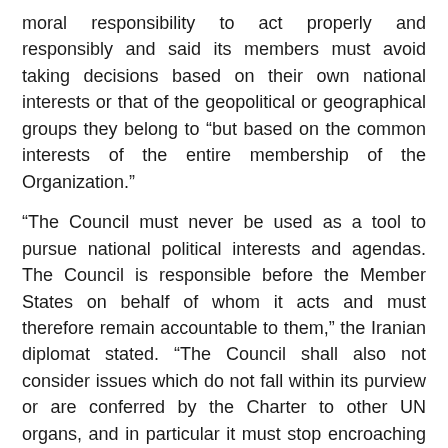moral responsibility to act properly and responsibly and said its members must avoid taking decisions based on their own national interests or that of the geopolitical or geographical groups they belong to “but based on the common interests of the entire membership of the Organization.”
“The Council must never be used as a tool to pursue national political interests and agendas. The Council is responsible before the Member States on behalf of whom it acts and must therefore remain accountable to them,” the Iranian diplomat stated. “The Council shall also not consider issues which do not fall within its purview or are conferred by the Charter to other UN organs, and in particular it must stop encroaching upon the functions and powers of the General Assembly.”
He warned that making hasty decisions or setting artificial deadlines for its work will be counter-productive, saying any possible decision, procedural or substantive, at any stage must be adopted only by consensus.
“We also do not support text-based negotiations at this stage. Moreover, changing the rules or format of the process or its